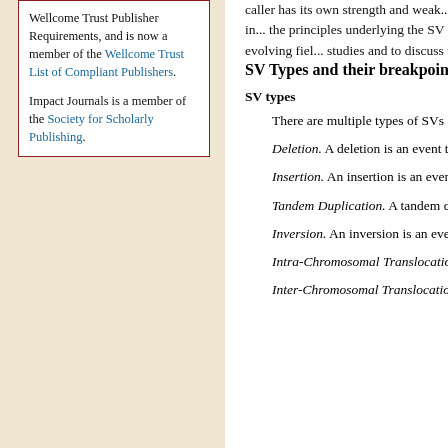Wellcome Trust Publisher Requirements, and is now a member of the Wellcome Trust List of Compliant Publishers.

Impact Journals is a member of the Society for Scholarly Publishing.
SV Types and their breakpoint fea...
SV types
There are multiple types of SVs insertion, tandem duplication, inversion...
Deletion. A deletion is an event tha... and the two nucleotides adjacent to the...
Insertion. An insertion is an even... nucleotides in the genome.
Tandem Duplication. A tandem du... position adjacent to itself.
Inversion. An inversion is an event...
Intra-Chromosomal Translocation... new position in the same chromosome...
Inter-Chromosomal Translocation... new position in a different chromosome...